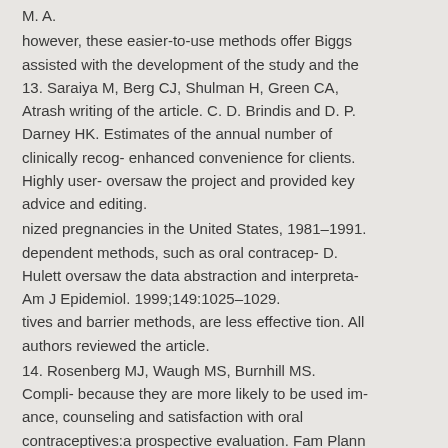M. A.
however, these easier-to-use methods offer Biggs assisted with the development of the study and the 13. Saraiya M, Berg CJ, Shulman H, Green CA, Atrash writing of the article. C. D. Brindis and D. P. Darney HK. Estimates of the annual number of clinically recog- enhanced convenience for clients. Highly user- oversaw the project and provided key advice and editing.
nized pregnancies in the United States, 1981–1991. dependent methods, such as oral contracep- D. Hulett oversaw the data abstraction and interpreta- Am J Epidemiol. 1999;149:1025–1029. tives and barrier methods, are less effective tion. All authors reviewed the article.
14. Rosenberg MJ, Waugh MS, Burnhill MS. Compli- because they are more likely to be used im- ance, counseling and satisfaction with oral contraceptives:a prospective evaluation. Fam Plann Perspect.
perfectly. Missed oral contraceptive pills are This research was funded by the State of California